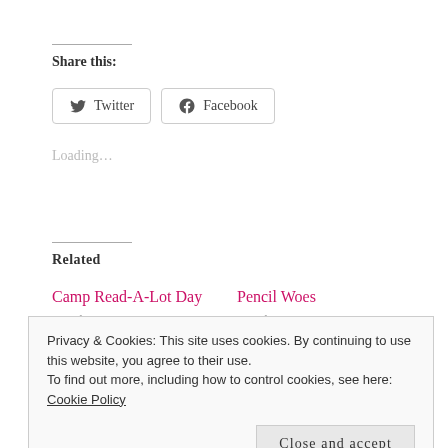Share this:
Twitter  Facebook
Loading…
Related
Camp Read-A-Lot Day
March 3, 2018
Pencil Woes
March 9, 2017
Privacy & Cookies: This site uses cookies. By continuing to use this website, you agree to their use.
To find out more, including how to control cookies, see here: Cookie Policy
Close and accept